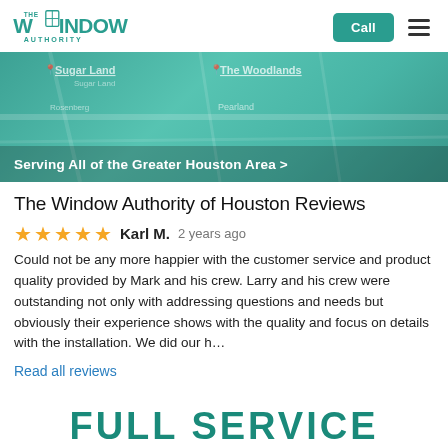The Window Authority | Call | Menu
[Figure (map): Map of Greater Houston Area showing Sugar Land, The Woodlands, Rosenberg, Pearland locations with teal overlay and 'Serving All of the Greater Houston Area >' banner]
The Window Authority of Houston Reviews
★★★★★ Karl M. 2 years ago
Could not be any more happier with the customer service and product quality provided by Mark and his crew. Larry and his crew were outstanding not only with addressing questions and needs but obviously their experience shows with the quality and focus on details with the installation. We did our h...
Read all reviews
FULL SERVICE